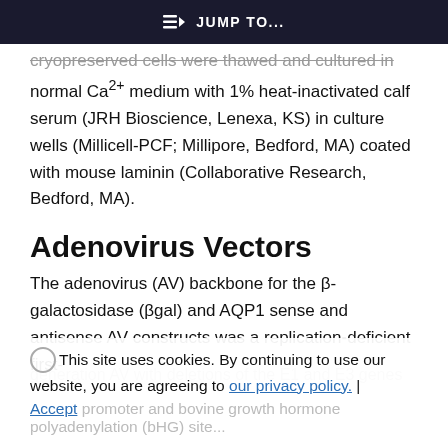≡D JUMP TO...
cryopreserved cells were thawed and cultured in normal Ca2+ medium with 1% heat-inactivated calf serum (JRH Bioscience, Lenexa, KS) in culture wells (Millicell-PCF; Millipore, Bedford, MA) coated with mouse laminin (Collaborative Research, Bedford, MA).
Adenovirus Vectors
The adenovirus (AV) backbone for the β-galactosidase (βgal) and AQP1 sense and antisense AV constructs was a replication-deficient first-generation AV with deletions of the E1 and E3 genes
This site uses cookies. By continuing to use our website, you are agreeing to our privacy policy. Accept promoter and bovine growth hormone polyadenylation (bHG) site...